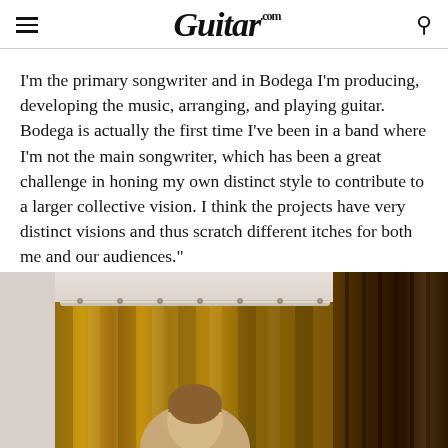Guitar.com
I'm the primary songwriter and in Bodega I'm producing, developing the music, arranging, and playing guitar. Bodega is actually the first time I've been in a band where I'm not the main songwriter, which has been a great challenge in honing my own distinct style to contribute to a larger collective vision. I think the projects have very distinct visions and thus scratch different itches for both me and our audiences."
[Figure (photo): Photograph showing people in front of golden/brown velvet curtains with a dark wooden panel on the right side]